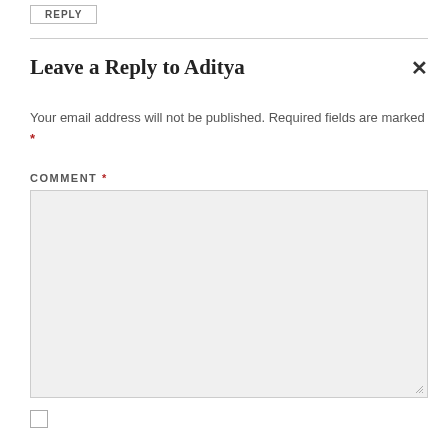REPLY
Leave a Reply to Aditya
Your email address will not be published. Required fields are marked *
COMMENT *
[Figure (other): Empty comment text area input box with light gray background and resize handle]
[Figure (other): Unchecked checkbox]